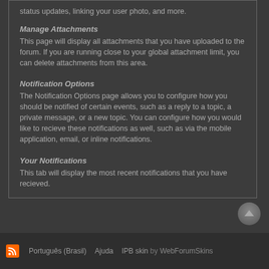status updates, linking your user photo, and more.
Manage Attachments
This page will display all attachments that you have uploaded to the forum. If you are running close to your global attachment limit, you can delete attachments from this area.
Notification Options
The Notification Options page allows you to configure how you should be notified of certain events, such as a reply to a topic, a private message, or a new topic. You can configure how you would like to recieve these notifications as well, such as via the mobile application, email, or inline notifications.
Your Notifications
This tab will display the most recent notifications that you have recieved.
Português (Brasil)   Ajuda   IPB skin by WebForumSkins